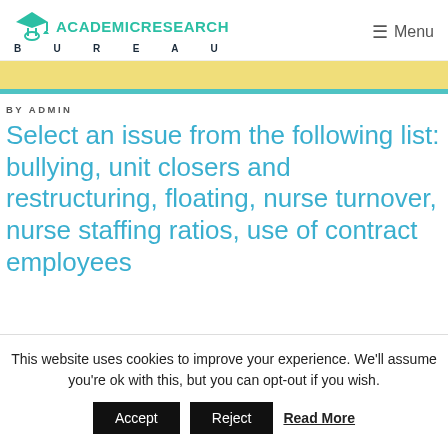ACADEMICRESEARCH BUREAU | Menu
BY ADMIN
Select an issue from the following list: bullying, unit closers and restructuring, floating, nurse turnover, nurse staffing ratios, use of contract employees
This website uses cookies to improve your experience. We'll assume you're ok with this, but you can opt-out if you wish. Accept Reject Read More